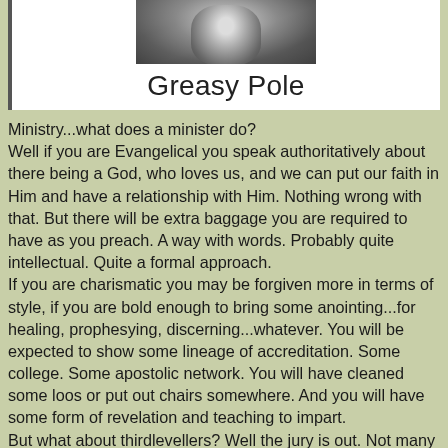[Figure (photo): Black and white photo of a person, partially visible at top, with a vertical bar/border element on the left side. White background box with the title below.]
Greasy Pole
Ministry...what does a minister do?
Well if you are Evangelical you speak authoritatively about there being a God, who loves us, and we can put our faith in Him and have a relationship with Him. Nothing wrong with that. But there will be extra baggage you are required to have as you preach. A way with words. Probably quite intellectual. Quite a formal approach.
If you are charismatic you may be forgiven more in terms of style, if you are bold enough to bring some anointing...for healing, prophesying, discerning...whatever. You will be expected to show some lineage of accreditation. Some college. Some apostolic network. You will have cleaned some loos or put out chairs somewhere. And you will have some form of revelation and teaching to impart.
But what about thirdlevellers? Well the jury is out. Not many yet are really anointed. Many have come through evangelicalism and doggedly persisted and just not accepted that evangelicalism was anywhere near what the Bible actually says in the New Testament.